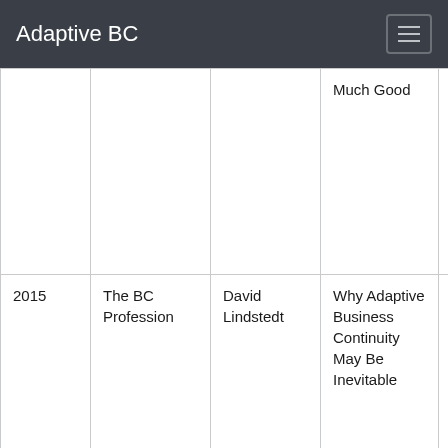Adaptive BC
|  |  |  | Much Good |  |
| 2015 | The BC Profession | David Lindstedt | Why Adaptive Business Continuity May Be Inevitable |  |